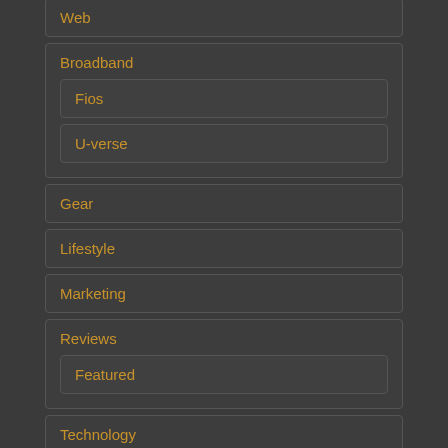Web
Broadband
Fios
U-verse
Gear
Lifestyle
Marketing
Reviews
Featured
Technology